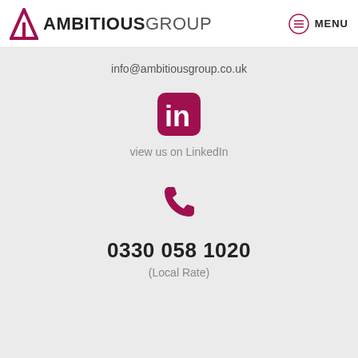AMBITIOUS GROUP  MENU
info@ambitiousgroup.co.uk
[Figure (logo): LinkedIn icon — rounded square with 'in' text, dark pink/maroon color]
view us on LinkedIn
[Figure (illustration): Phone handset icon in dark pink/maroon color]
0330 058 1020
(Local Rate)